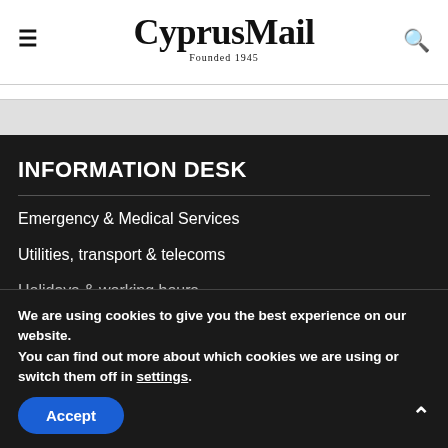CyprusMail — Founded 1945
INFORMATION DESK
Emergency & Medical Services
Utilities, transport & telecoms
Holidays & working hours
We are using cookies to give you the best experience on our website.
You can find out more about which cookies we are using or switch them off in settings.